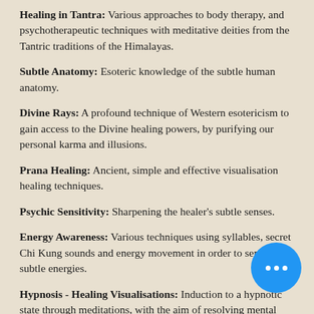Healing in Tantra: Various approaches to body therapy, and psychotherapeutic techniques with meditative deities from the Tantric traditions of the Himalayas.
Subtle Anatomy: Esoteric knowledge of the subtle human anatomy.
Divine Rays: A profound technique of Western esotericism to gain access to the Divine healing powers, by purifying our personal karma and illusions.
Prana Healing: Ancient, simple and effective visualisation healing techniques.
Psychic Sensitivity: Sharpening the healer's subtle senses.
Energy Awareness: Various techniques using syllables, secret Chi Kung sounds and energy movement in order to sense subtle energies.
Hypnosis - Healing Visualisations: Induction to a hypnotic state through meditations, with the aim of resolving mental and physical tensions.